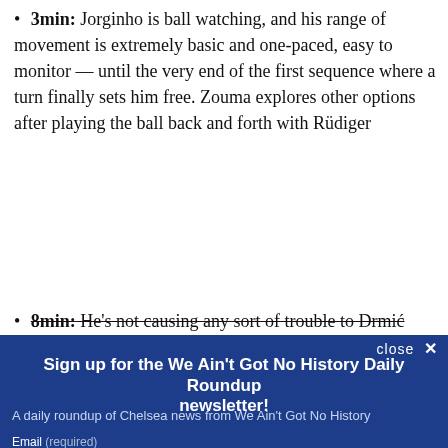3min: Jorginho is ball watching, and his range of movement is extremely basic and one-paced, easy to monitor — until the very end of the first sequence where a turn finally sets him free. Zouma explores other options after playing the ball back and forth with Rüdiger
8min: He's not causing any sort of trouble to Drmić
[Figure (other): Newsletter signup modal overlay with dark blue background. Title: 'Sign up for the We Ain't Got No History Daily Roundup newsletter!' Subtitle: 'A daily roundup of Chelsea news from We Ain't Got No History'. Email input field and SUBSCRIBE button. Close X button top right. Footer: 'By submitting your email, you agree to our Terms and Privacy Notice. You can opt out at any time. This site is protected by reCAPTCHA and the Google Privacy Policy and Terms of Service apply.']